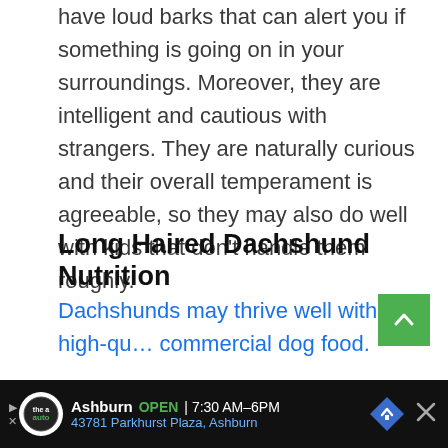have loud barks that can alert you if something is going on in your surroundings. Moreover, they are intelligent and cautious with strangers. They are naturally curious and their overall temperament is agreeable, so they may also do well with kids that don't handle them roughly.
Long Haired Dachshund Nutrition
Dachshunds may thrive well with high-qu… commercial dog food.
Proper nutrition coupled with proper exercise
[Figure (other): Advertisement bar at the bottom: The Auto business in Ashburn, OPEN 7:30AM-6PM, address 43781 Parkhurst Plaza, Ashburn, with navigation arrow icon and close button.]